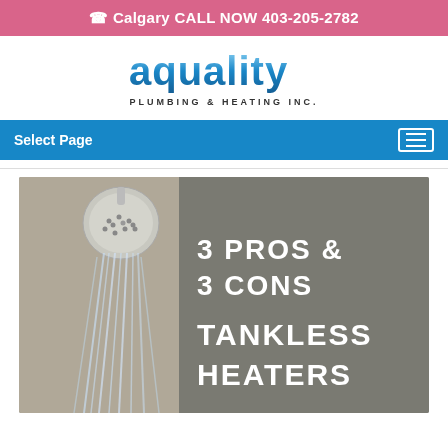Calgary CALL NOW 403-205-2782
[Figure (logo): Aquality Plumbing & Heating Inc. logo with blue gradient text]
Select Page
[Figure (photo): Hero image showing a shower head spraying water on the left half, and bold white text on gray background reading '3 PROS & 3 CONS TANKLESS HEATERS' on the right half]